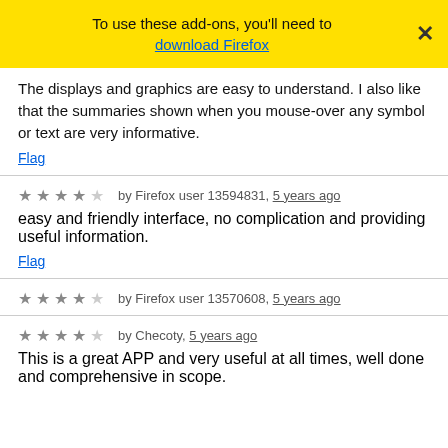To use these add-ons, you'll need to download Firefox
The displays and graphics are easy to understand. I also like that the summaries shown when you mouse-over any symbol or text are very informative.
Flag
★★★★☆ by Firefox user 13594831, 5 years ago
easy and friendly interface, no complication and providing useful information.
Flag
★★★★☆ by Firefox user 13570608, 5 years ago
★★★★☆ by Checoty, 5 years ago
This is a great APP and very useful at all times, well done and comprehensive in scope.